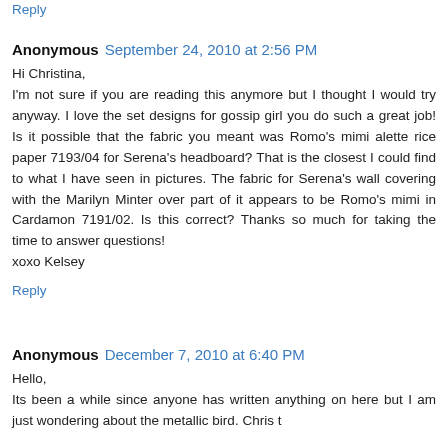Reply
Anonymous  September 24, 2010 at 2:56 PM
Hi Christina,
I'm not sure if you are reading this anymore but I thought I would try anyway. I love the set designs for gossip girl you do such a great job! Is it possible that the fabric you meant was Romo's mimi alette rice paper 7193/04 for Serena's headboard? That is the closest I could find to what I have seen in pictures. The fabric for Serena's wall covering with the Marilyn Minter over part of it appears to be Romo's mimi in Cardamon 7191/02. Is this correct? Thanks so much for taking the time to answer questions!
xoxo Kelsey
Reply
Anonymous  December 7, 2010 at 6:40 PM
Hello,
Its been a while since anyone has written anything on here but I am just wondering about the metallic bird. Chris t...